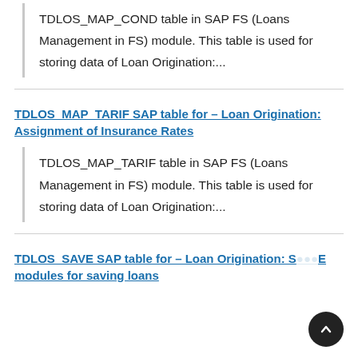TDLOS_MAP_COND table in SAP FS (Loans Management in FS) module. This table is used for storing data of Loan Origination:...
TDLOS_MAP_TARIF SAP table for – Loan Origination: Assignment of Insurance Rates
TDLOS_MAP_TARIF table in SAP FS (Loans Management in FS) module. This table is used for storing data of Loan Origination:...
TDLOS_SAVE SAP table for – Loan Origination: SAP modules for saving loans